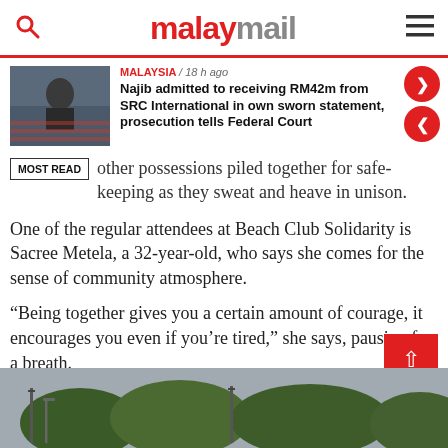malaymail
[Figure (screenshot): Thumbnail photo of a person wearing a mask in front of a Malaysian flag]
MALAYSIA / 18 h ago
Najib admitted to receiving RM42m from SRC International in own sworn statement, prosecution tells Federal Court
MOST READ
other possessions piled together for safe-keeping as they sweat and heave in unison.
One of the regular attendees at Beach Club Solidarity is Sacree Metela, a 32-year-old, who says she comes for the sense of community atmosphere.
“Being together gives you a certain amount of courage, it encourages you even if you’re tired,” she says, pausing for a breath.
[Figure (photo): Outdoor photo showing trees and utility poles against a grey sky]